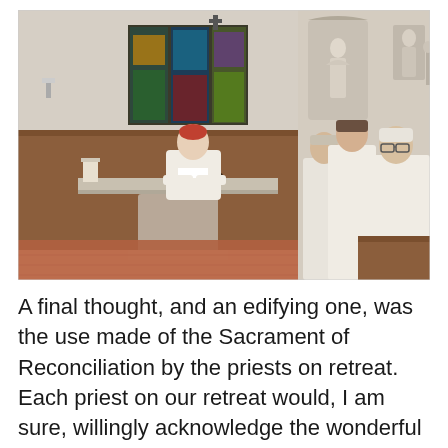[Figure (photo): Interior of a chapel. A priest in white vestments sits behind a stone altar on the left. Three other clergy members in white robes stand on the right side, looking down. The chapel has wooden pews, stained glass windows, and religious statues in niches on the wall.]
A final thought, and an edifying one, was the use made of the Sacrament of Reconciliation by the priests on retreat. Each priest on our retreat would, I am sure, willingly acknowledge the wonderful moment of grace and mercy experienced in the reception of this often under-